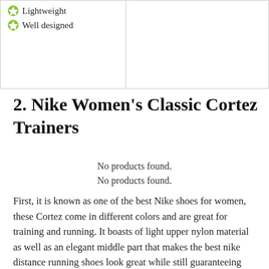| Pros | Cons |
| --- | --- |
| Lightweight
Well designed |  |
2. Nike Women's Classic Cortez Trainers
No products found.
No products found.
First, it is known as one of the best Nike shoes for women, these Cortez come in different colors and are great for training and running. It boasts of light upper nylon material as well as an elegant middle part that makes the best nike distance running shoes look great while still guaranteeing optimal comfort.
Again, their herringbone-patterned rubber outsole